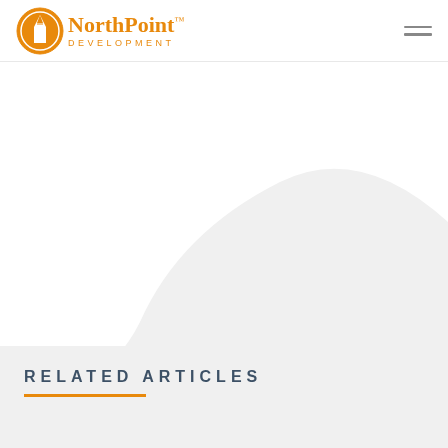NorthPoint Development
[Figure (logo): NorthPoint Development logo with orange circle containing a white building/obelisk icon, followed by the text 'NorthPoint' in orange serif font with a trademark symbol, and 'DEVELOPMENT' in spaced orange sans-serif letters below]
[Figure (illustration): Decorative wave-shaped background section. Top strip shows partial orange quotation marks on a light gray background. Below is a large white curved wave shape on a light gray (#f0f0f0) background, sweeping from upper right to lower left.]
RELATED ARTICLES